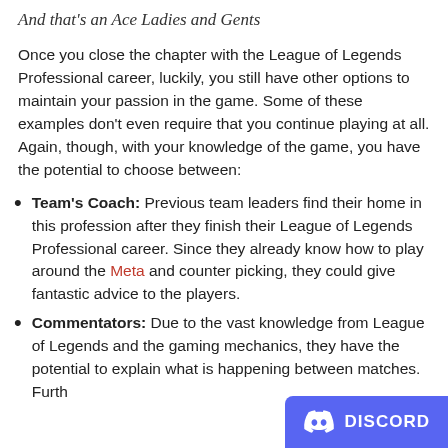And that's an Ace Ladies and Gents
Once you close the chapter with the League of Legends Professional career, luckily, you still have other options to maintain your passion in the game. Some of these examples don't even require that you continue playing at all. Again, though, with your knowledge of the game, you have the potential to choose between:
Team's Coach: Previous team leaders find their home in this profession after they finish their League of Legends Professional career. Since they already know how to play around the Meta and counter picking, they could give fantastic advice to the players.
Commentators: Due to the vast knowledge from League of Legends and the gaming mechanics, they have the potential to explain what is happening between matches. Furth...